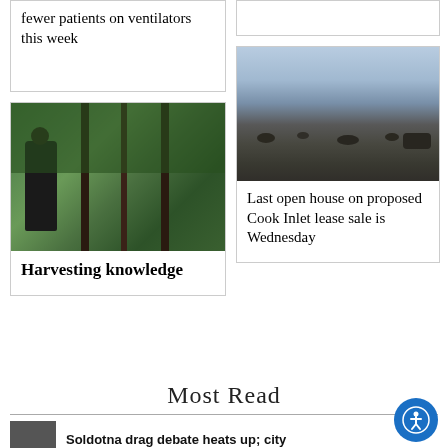fewer patients on ventilators this week
[Figure (photo): Man standing in a greenhouse among cherry trees with red cherries]
Harvesting knowledge
[Figure (photo): Rocky shoreline at dusk with calm water and cloudy sky]
Last open house on proposed Cook Inlet lease sale is Wednesday
Most Read
[Figure (photo): Thumbnail image for most read article]
Soldotna drag debate heats up; city